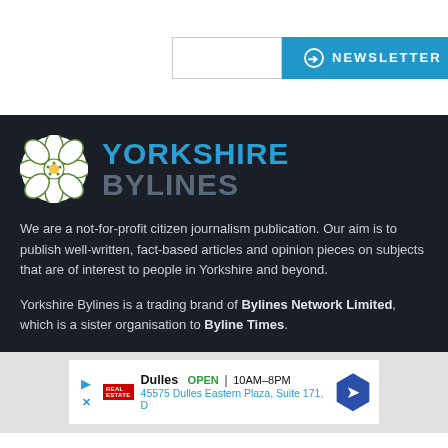[Figure (screenshot): Newsletter signup input box and blue newsletter button with circle arrow icon]
[Figure (logo): Yorkshire Bylines logo with white rose emblem and blue/grey text]
We are a not-for-profit citizen journalism publication. Our aim is to publish well-written, fact-based articles and opinion pieces on subjects that are of interest to people in Yorkshire and beyond.
Yorkshire Bylines is a trading brand of Bylines Network Limited, which is a sister organisation to Byline Times.
[Figure (screenshot): Advertisement for Dulles: OPEN 10AM-8PM, 45575 Dulles Eastern Plaza, Suite 171, D — with navigation icon]